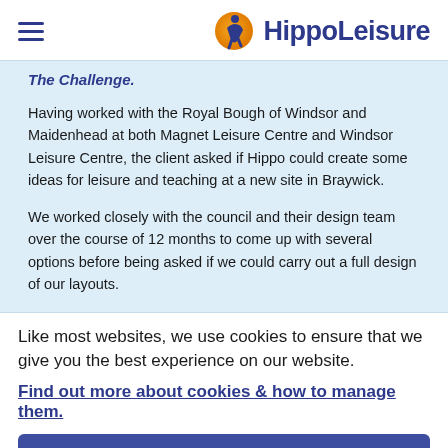HippoLeisure
The Challenge.
Having worked with the Royal Bough of Windsor and Maidenhead at both Magnet Leisure Centre and Windsor Leisure Centre, the client asked if Hippo could create some ideas for leisure and teaching at a new site in Braywick.
We worked closely with the council and their design team over the course of 12 months to come up with several options before being asked if we could carry out a full design of our layouts.
Like most websites, we use cookies to ensure that we give you the best experience on our website.
Find out more about cookies & how to manage them.